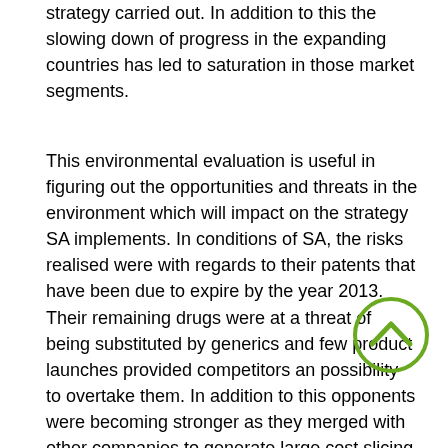strategy carried out. In addition to this the slowing down of progress in the expanding countries has led to saturation in those market segments.
This environmental evaluation is useful in figuring out the opportunities and threats in the environment which will impact on the strategy SA implements. In conditions of SA, the risks realised were with regards to their patents that have been due to expire by the year 2013. Their remaining drugs were at a threat of being substituted by generics and few product launches provided competitors an possibility to overtake them. In addition to this opponents were becoming stronger as they merged with other companies to generate large cost slicing companies which produced large numbers of drugs. Lastly, the increasing buyer ability saw the necessity for a change from the 'blockbuster model' to the creation of products that satisfied customers needs to be able to identify their products of their competition and increase turning costs. Around the other hand, the increasing